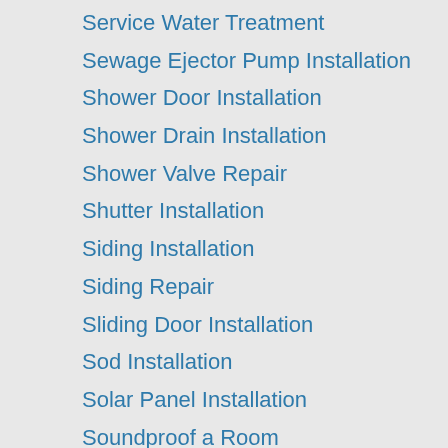Service Water Treatment
Sewage Ejector Pump Installation
Shower Door Installation
Shower Drain Installation
Shower Valve Repair
Shutter Installation
Siding Installation
Siding Repair
Sliding Door Installation
Sod Installation
Solar Panel Installation
Soundproof a Room
Spread Gravel
Sprinkler Repair
Stone Veneer Installation